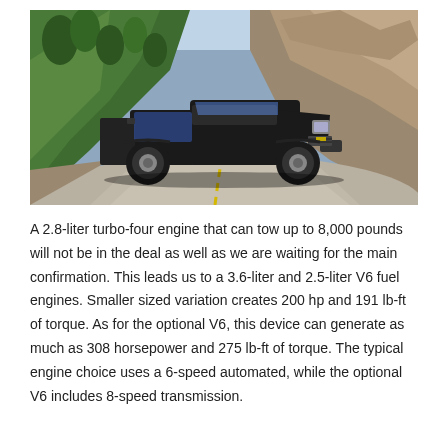[Figure (photo): A black Chevrolet Colorado pickup truck driving on a winding mountain road with rocky cliffs and green trees in the background.]
A 2.8-liter turbo-four engine that can tow up to 8,000 pounds will not be in the deal as well as we are waiting for the main confirmation. This leads us to a 3.6-liter and 2.5-liter V6 fuel engines. Smaller sized variation creates 200 hp and 191 lb-ft of torque. As for the optional V6, this device can generate as much as 308 horsepower and 275 lb-ft of torque. The typical engine choice uses a 6-speed automated, while the optional V6 includes 8-speed transmission.